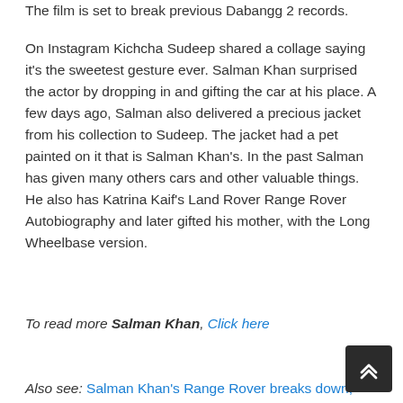The film is set to break previous Dabangg 2 records.
On Instagram Kichcha Sudeep shared a collage saying it's the sweetest gesture ever. Salman Khan surprised the actor by dropping in and gifting the car at his place. A few days ago, Salman also delivered a precious jacket from his collection to Sudeep. The jacket had a pet painted on it that is Salman Khan's. In the past Salman has given many others cars and other valuable things. He also has Katrina Kaif's Land Rover Range Rover Autobiography and later gifted his mother, with the Long Wheelbase version.
To read more Salman Khan, Click here
Also see: Salman Khan's Range Rover breaks down,